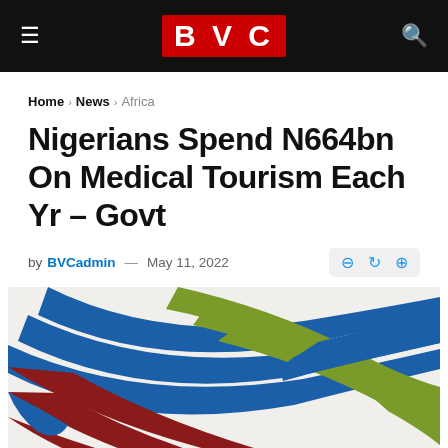BVC
Home > News > Africa
Nigerians Spend N664bn On Medical Tourism Each Yr – Govt
by BVCadmin — May 11, 2022
[Figure (logo): Colorful interlocking curved ribbon stripes in blue, olive green, and dark red, forming a woven pattern — BVC decorative graphic/logo image]